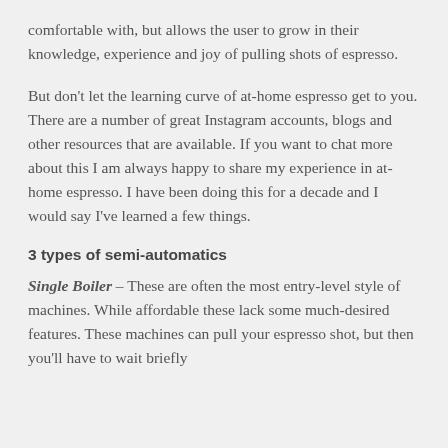comfortable with, but allows the user to grow in their knowledge, experience and joy of pulling shots of espresso.
But don't let the learning curve of at-home espresso get to you. There are a number of great Instagram accounts, blogs and other resources that are available. If you want to chat more about this I am always happy to share my experience in at-home espresso. I have been doing this for a decade and I would say I've learned a few things.
3 types of semi-automatics
Single Boiler – These are often the most entry-level style of machines. While affordable these lack some much-desired features. These machines can pull your espresso shot, but then you'll have to wait briefly